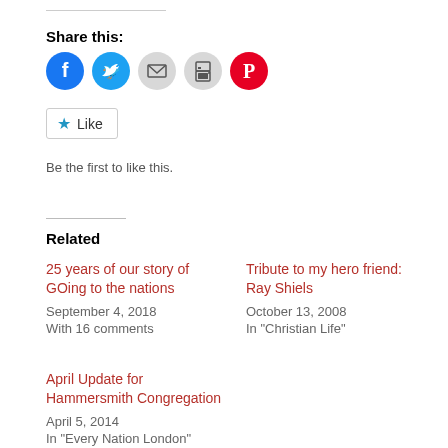Share this:
[Figure (infographic): Row of social sharing icon circles: Facebook (blue), Twitter (light blue), Email (gray), Print (gray), Pinterest (red)]
[Figure (infographic): Like button widget with blue star icon and text 'Like']
Be the first to like this.
Related
25 years of our story of GOing to the nations
September 4, 2018
With 16 comments
Tribute to my hero friend: Ray Shiels
October 13, 2008
In "Christian Life"
April Update for Hammersmith Congregation
April 5, 2014
In "Every Nation London"